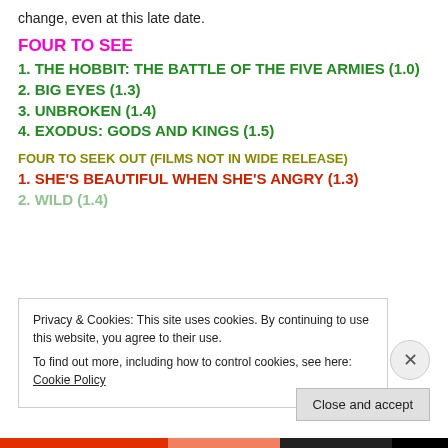change, even at this late date.
FOUR TO SEE
1. THE HOBBIT: THE BATTLE OF THE FIVE ARMIES (1.0)
2. BIG EYES (1.3)
3. UNBROKEN (1.4)
4. EXODUS: GODS AND KINGS (1.5)
FOUR TO SEEK OUT (FILMS NOT IN WIDE RELEASE)
1. SHE'S BEAUTIFUL WHEN SHE'S ANGRY (1.3)
2. WILD (1.4)
Privacy & Cookies: This site uses cookies. By continuing to use this website, you agree to their use.
To find out more, including how to control cookies, see here: Cookie Policy
Close and accept